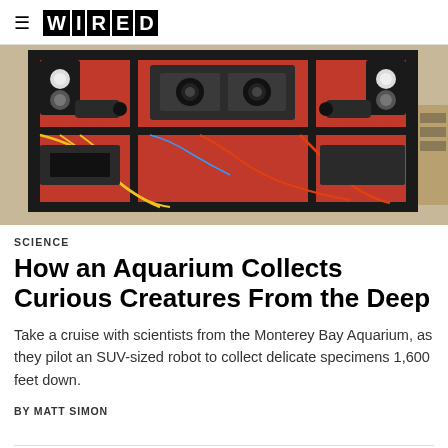≡ WIRED
[Figure (photo): Front face of an orange and black ROV (remotely operated vehicle) with multiple cameras, lights, and cables visible, photographed outdoors near a dock.]
SCIENCE
How an Aquarium Collects Curious Creatures From the Deep
Take a cruise with scientists from the Monterey Bay Aquarium, as they pilot an SUV-sized robot to collect delicate specimens 1,600 feet down.
BY MATT SIMON